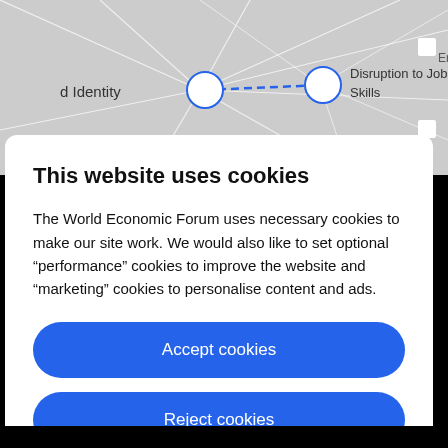[Figure (screenshot): A network graph/map screenshot from the World Economic Forum website, showing nodes labeled 'd Identity' and 'Disruption to Jobs and Skills' connected by dashed blue lines, with other intersecting white lines on a gray background.]
This website uses cookies
The World Economic Forum uses necessary cookies to make our site work. We would also like to set optional “performance” cookies to improve the website and “marketing” cookies to personalise content and ads.
Accept cookies
Reject cookies
Cookie settings